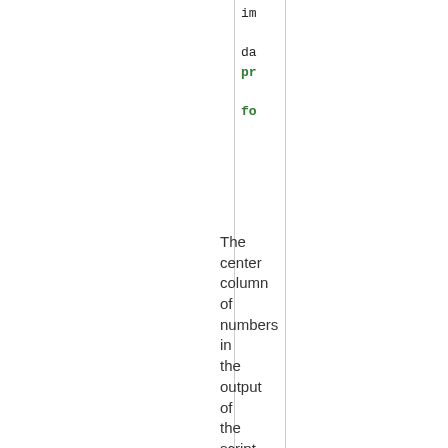[Figure (screenshot): A partial code listing showing Python-like code lines including 'im', 'da', 'pr', and 'fo' fragments in black and green monospace font inside a bordered white box]
The center column of numbers in the output of the script is the